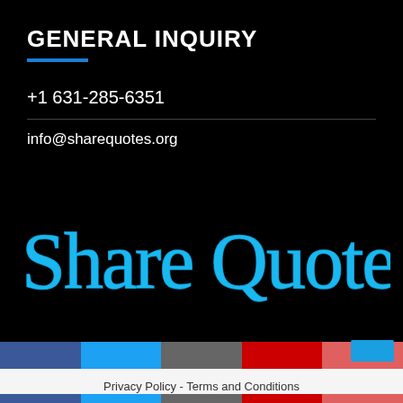GENERAL INQUIRY
+1 631-285-6351
info@sharequotes.org
[Figure (logo): Share Quotes cursive logo in cyan/blue color on black background]
Privacy Policy  -  Terms and Conditions